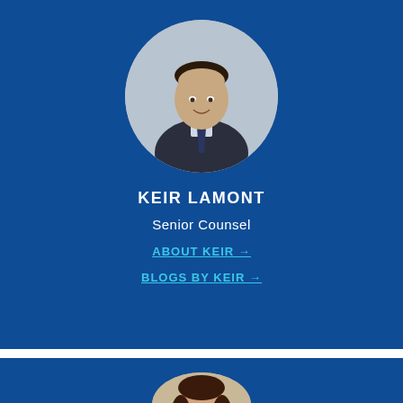[Figure (photo): Circular headshot photo of Keir Lamont, a young man wearing a dark suit and striped tie, smiling, on a blue background card]
KEIR LAMONT
Senior Counsel
ABOUT KEIR →
BLOGS BY KEIR →
[Figure (photo): Circular headshot photo of a woman with long dark hair, smiling, partially visible at the bottom of the page, on a blue background card]